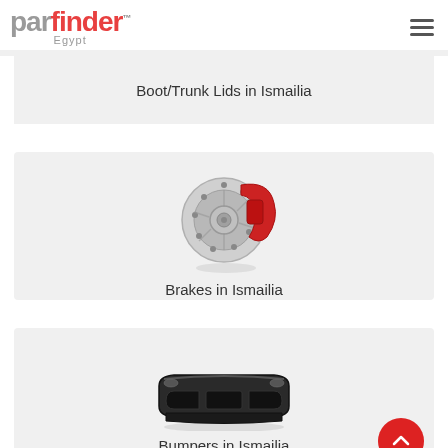partfinder Egypt
[Figure (illustration): Boot/Trunk Lids category card with label]
Boot/Trunk Lids in Ismailia
[Figure (illustration): Brake disc with red caliper illustration for Brakes category]
Brakes in Ismailia
[Figure (illustration): Front car bumper illustration for Bumpers category]
Bumpers in Ismailia